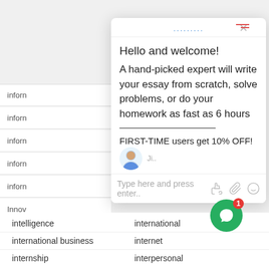[Figure (screenshot): Background webpage showing a list of academic topics starting with 'inform' and 'Innov']
[Figure (screenshot): Chat popup overlay with greeting and promotional message for essay writing service]
Hello and welcome!
A hand-picked expert will write your essay from scratch, solve problems, or do your homework as fast as 6 hours
FIRST-TIME users get 10% OFF!
Use Discount Coupon code - "FIRST10"
https://writemypapertoday.com/orders/stud/new
Type here and press enter..
intelligence
international
international business
internet
internship
interpersonal